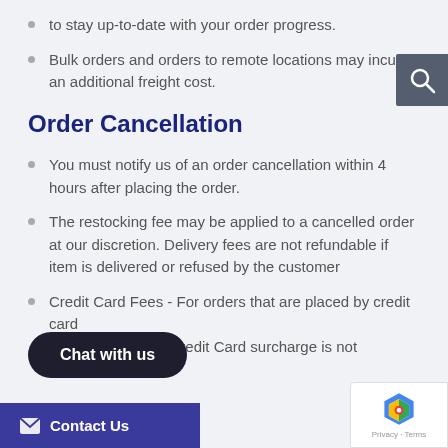to stay up-to-date with your order progress.
Bulk orders and orders to remote locations may incur an additional freight cost.
Order Cancellation
You must notify us of an order cancellation within 4 hours after placing the order.
The restocking fee may be applied to a cancelled order at our discretion. Delivery fees are not refundable if item is delivered or refused by the customer
Credit Card Fees - For orders that are placed by credit card and, the Credit Card surcharge is not